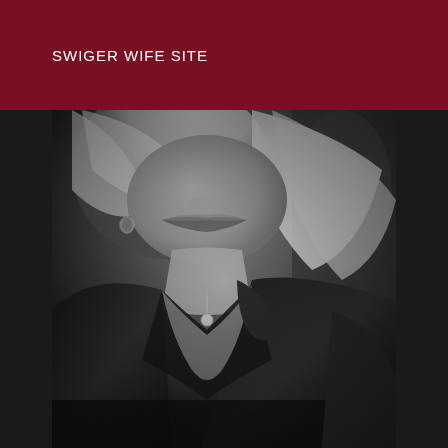SWIGER WIFE SITE
[Figure (photo): Black and white photograph of a woman with blonde hair wearing a dark blazer, leaning forward, partial face visible from nose down, showing neckline and necklace]